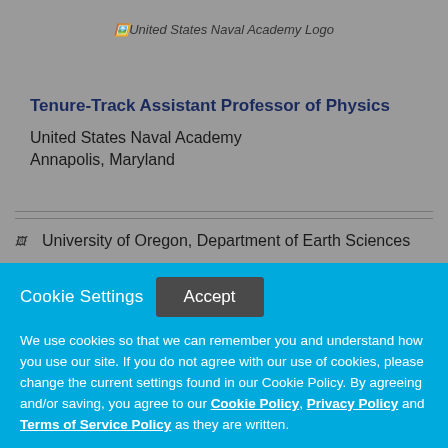[Figure (logo): United States Naval Academy Logo]
Tenure-Track Assistant Professor of Physics
United States Naval Academy
Annapolis, Maryland
[Figure (logo): University of Oregon, Department of Earth Sciences logo]
University of Oregon, Department of Earth Sciences
Cookie Settings
Accept
We use cookies so that we can remember you and understand how you use our site. If you do not agree with our use of cookies, please change the current settings found in our Cookie Policy. By agreeing and/or saving, you agree to our Cookie Policy, Privacy Policy and Terms of Service Policy as they are written.